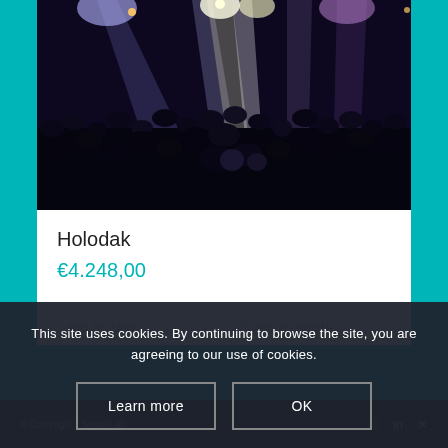[Figure (photo): Concert venue photo showing a dark stage with dramatic blue and white stage lighting beams, silhouettes of a large crowd in the foreground]
Holodak
€4.248,00
This site uses cookies. By continuing to browse the site, you are agreeing to our use of cookies.
Learn more
OK
© Copyright · SenseLab